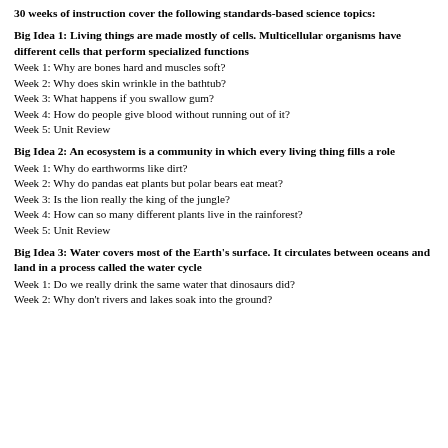30 weeks of instruction cover the following standards-based science topics:
Big Idea 1: Living things are made mostly of cells. Multicellular organisms have different cells that perform specialized functions
Week 1: Why are bones hard and muscles soft?
Week 2: Why does skin wrinkle in the bathtub?
Week 3: What happens if you swallow gum?
Week 4: How do people give blood without running out of it?
Week 5: Unit Review
Big Idea 2: An ecosystem is a community in which every living thing fills a role
Week 1: Why do earthworms like dirt?
Week 2: Why do pandas eat plants but polar bears eat meat?
Week 3: Is the lion really the king of the jungle?
Week 4: How can so many different plants live in the rainforest?
Week 5: Unit Review
Big Idea 3: Water covers most of the Earth's surface. It circulates between oceans and land in a process called the water cycle
Week 1: Do we really drink the same water that dinosaurs did?
Week 2: Why don't rivers and lakes soak into the ground?